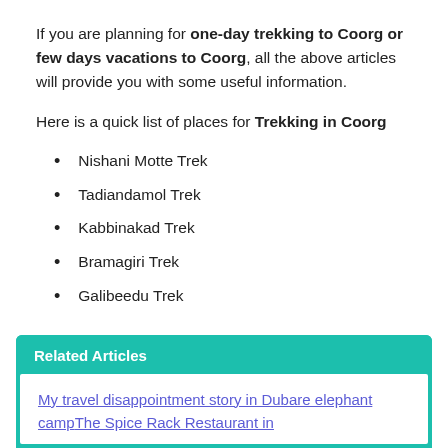If you are planning for one-day trekking to Coorg or few days vacations to Coorg, all the above articles will provide you with some useful information.
Here is a quick list of places for Trekking in Coorg
Nishani Motte Trek
Tadiandamol Trek
Kabbinakad Trek
Bramagiri Trek
Galibeedu Trek
Related Articles
My travel disappointment story in Dubare elephant campThe Spice Rack Restaurant in